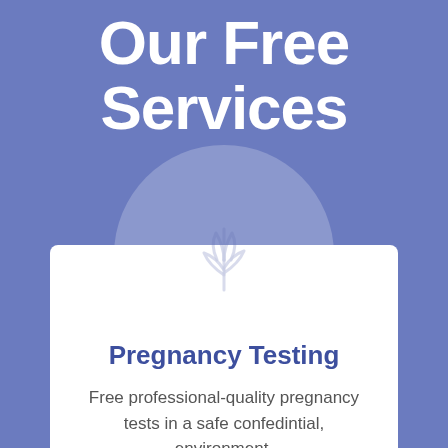Our Free Services
[Figure (illustration): Faint circular watermark with a tulip/plant icon in light lavender, overlapping the blue background and white card]
Pregnancy Testing
Free professional-quality pregnancy tests in a safe confedintial, environment.